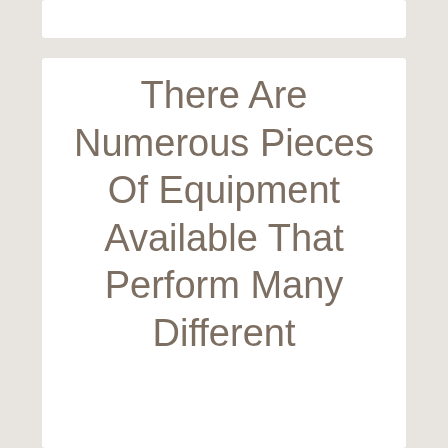There Are Numerous Pieces Of Equipment Available That Perform Many Different